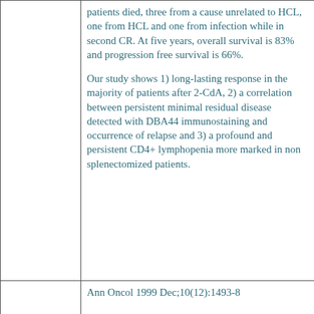|  | patients died, three from a cause unrelated to HCL, one from HCL and one from infection while in second CR. At five years, overall survival is 83% and progression free survival is 66%.

Our study shows 1) long-lasting response in the majority of patients after 2-CdA, 2) a correlation between persistent minimal residual disease detected with DBA44 immunostaining and occurrence of relapse and 3) a profound and persistent CD4+ lymphopenia more marked in non splenectomized patients. |
|  | Ann Oncol 1999 Dec;10(12):1493-8 |